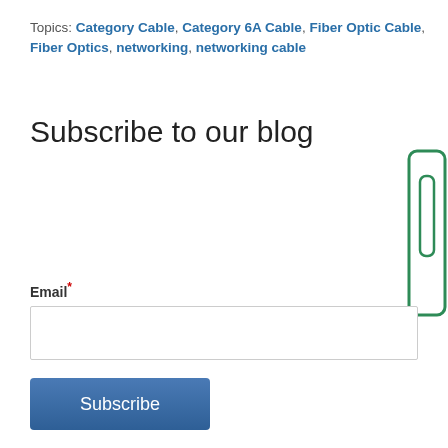Topics: Category Cable, Category 6A Cable, Fiber Optic Cable, Fiber Optics, networking, networking cable
Subscribe to our blog
Email*
[Figure (other): Green rounded rectangle icon/badge on right side]
Subscribe (button)
Recent Posts
Our Access Control Composite Cables Make Installation Easy
Extend Customer Loyalty with Our Long-Length Fiber Optic Cables
Our Plenum & Non-Plenum Cables Comply with Open Supervised Device Protocol (OSDP) Standards